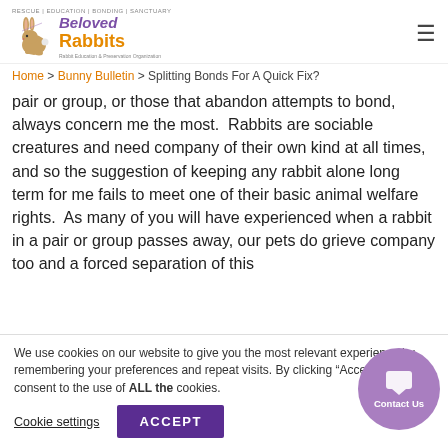Beloved Rabbits logo and navigation header
Home > Bunny Bulletin > Splitting Bonds For A Quick Fix?
pair or group, or those that abandon attempts to bond, always concern me the most.  Rabbits are sociable creatures and need company of their own kind at all times, and so the suggestion of keeping any rabbit alone long term for me fails to meet one of their basic animal welfare rights.  As many of you will have experienced when a rabbit in a pair or group passes away, our pets do grieve company too and a forced separation of this
We use cookies on our website to give you the most relevant experience by remembering your preferences and repeat visits. By clicking “Accept”, you consent to the use of ALL the cookies.
Cookie settings
ACCEPT
Contact Us